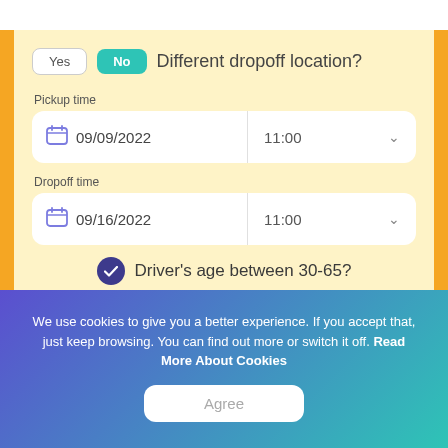Yes  No  Different dropoff location?
Pickup time
09/09/2022  11:00
Dropoff time
09/16/2022  11:00
✓ Driver's age between 30-65?
I live in  United States
We use cookies to give you a better experience. If you accept that, just keep browsing. You can find out more or switch it off. Read More About Cookies
Agree